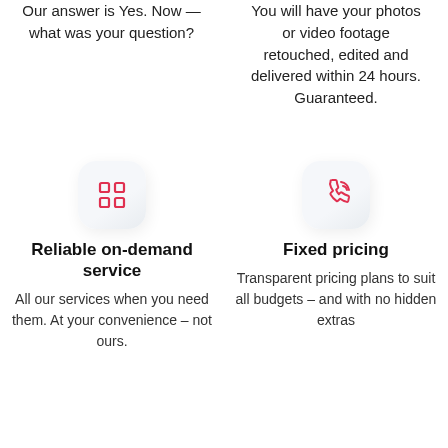Our answer is Yes. Now — what was your question?
You will have your photos or video footage retouched, edited and delivered within 24 hours. Guaranteed.
[Figure (illustration): Red grid/apps icon on a rounded square button]
Reliable on-demand service
All our services when you need them. At your convenience – not ours.
[Figure (illustration): Red phone/call icon on a rounded square button]
Fixed pricing
Transparent pricing plans to suit all budgets – and with no hidden extras